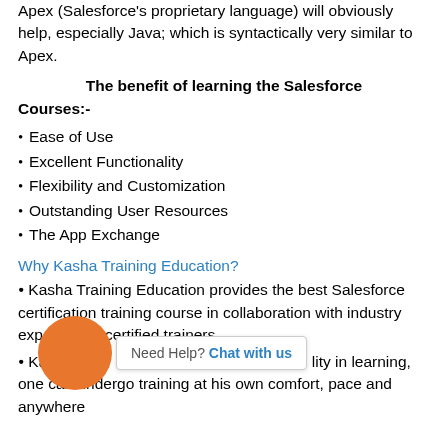Apex (Salesforce's proprietary language) will obviously help, especially Java; which is syntactically very similar to Apex.
The benefit of learning the Salesforce Courses:-
Ease of Use
Excellent Functionality
Flexibility and Customization
Outstanding User Resources
The App Exchange
Why Kasha Training Education?
Kasha Training Education provides the best Salesforce certification training course in collaboration with industry experts with certified trainers.
Kasha Training Education provides flexibility in learning, one can undergo training at his own comfort, pace and anywhere